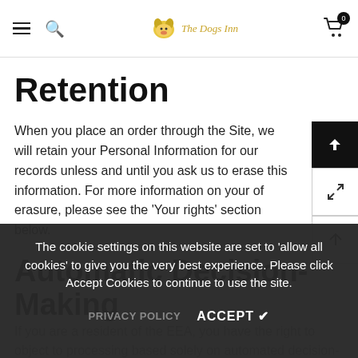The Dogs Inn — navigation bar with hamburger menu, search icon, logo, and cart (0)
Retention
When you place an order through the Site, we will retain your Personal Information for our records unless and until you ask us to erase this information. For more information on your of erasure, please see the 'Your rights' section below.
Automatic Decision-Making
If you are a resident of the EEA, you have the right to object to processing based solely on automated decision-making
The cookie settings on this website are set to 'allow all cookies' to give you the very best experience. Please click Accept Cookies to continue to use the site.